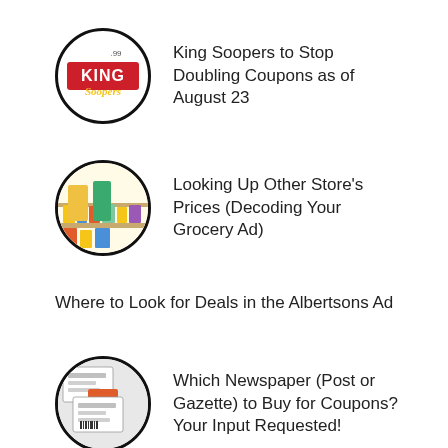[Figure (logo): King Soopers circular logo with dark border]
King Soopers to Stop Doubling Coupons as of August 23
[Figure (photo): Circular photo of grocery store shelves with colorful products]
Looking Up Other Store's Prices (Decoding Your Grocery Ad)
Where to Look for Deals in the Albertsons Ad
[Figure (photo): Circular photo of newspaper coupons/coupon inserts]
Which Newspaper (Post or Gazette) to Buy for Coupons? Your Input Requested!